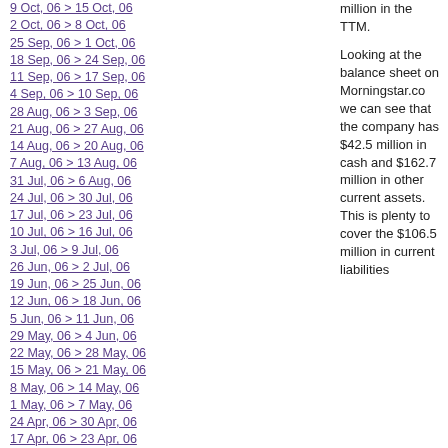9 Oct, 06 > 15 Oct, 06
2 Oct, 06 > 8 Oct, 06
25 Sep, 06 > 1 Oct, 06
18 Sep, 06 > 24 Sep, 06
11 Sep, 06 > 17 Sep, 06
4 Sep, 06 > 10 Sep, 06
28 Aug, 06 > 3 Sep, 06
21 Aug, 06 > 27 Aug, 06
14 Aug, 06 > 20 Aug, 06
7 Aug, 06 > 13 Aug, 06
31 Jul, 06 > 6 Aug, 06
24 Jul, 06 > 30 Jul, 06
17 Jul, 06 > 23 Jul, 06
10 Jul, 06 > 16 Jul, 06
3 Jul, 06 > 9 Jul, 06
26 Jun, 06 > 2 Jul, 06
19 Jun, 06 > 25 Jun, 06
12 Jun, 06 > 18 Jun, 06
5 Jun, 06 > 11 Jun, 06
29 May, 06 > 4 Jun, 06
22 May, 06 > 28 May, 06
15 May, 06 > 21 May, 06
8 May, 06 > 14 May, 06
1 May, 06 > 7 May, 06
24 Apr, 06 > 30 Apr, 06
17 Apr, 06 > 23 Apr, 06
10 Apr, 06 > 16 Apr, 06
3 Apr, 06 > 9 Apr, 06
million in the TTM.
Looking at the balance sheet on Morningstar.com, we can see that the company has $42.5 million in cash and $162.7 million in other current assets. This is plenty to cover the $106.5 million in current liabilities